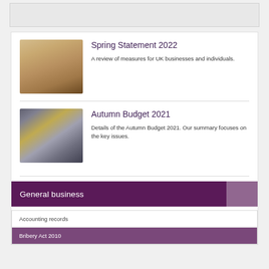[Figure (photo): Gray placeholder box at top of page]
[Figure (photo): Person working on a laptop at a wooden desk with a coffee cup]
Spring Statement 2022
A review of measures for UK businesses and individuals.
[Figure (photo): Fan of British pound banknotes with dark folder]
Autumn Budget 2021
Details of the Autumn Budget 2021. Our summary focuses on the key issues.
General business
Accounting records
Bribery Act 2010